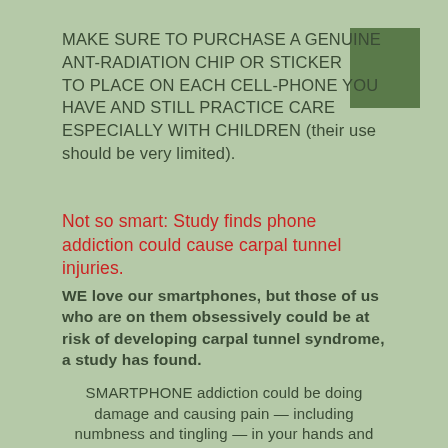MAKE SURE TO PURCHASE A GENUINE ANT-RADIATION CHIP OR STICKER TO PLACE ON EACH CELL-PHONE YOU HAVE AND STILL PRACTICE CARE ESPECIALLY WITH CHILDREN (their use should be very limited).
[Figure (illustration): Small dark green square in the top-right corner of the page]
Not so smart: Study finds phone addiction could cause carpal tunnel injuries.
WE love our smartphones, but those of us who are on them obsessively could be at risk of developing carpal tunnel syndrome, a study has found.
SMARTPHONE addiction could be doing damage and causing pain — including numbness and tingling — in your hands and wrists, a study has found. An international study, starting with 500 students,